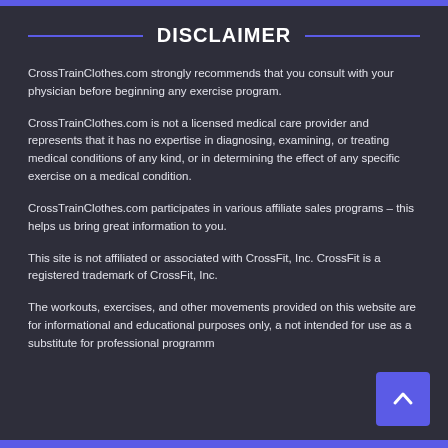DISCLAIMER
CrossTrainClothes.com strongly recommends that you consult with your physician before beginning any exercise program.
CrossTrainClothes.com is not a licensed medical care provider and represents that it has no expertise in diagnosing, examining, or treating medical conditions of any kind, or in determining the effect of any specific exercise on a medical condition.
CrossTrainClothes.com participates in various affiliate sales programs – this helps us bring great information to you.
This site is not affiliated or associated with CrossFit, Inc. CrossFit is a registered trademark of CrossFit, Inc.
The workouts, exercises, and other movements provided on this website are for informational and educational purposes only, a not intended for use as a substitute for professional programm